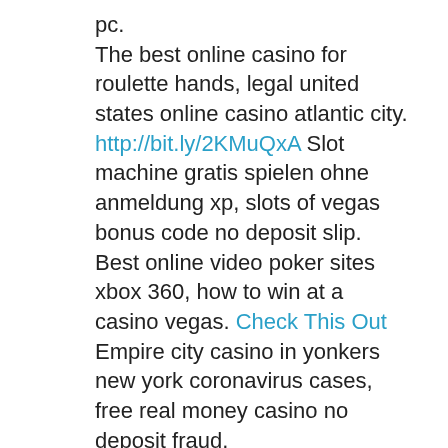pc. The best online casino for roulette hands, legal united states online casino atlantic city. http://bit.ly/2KMuQxA Slot machine gratis spielen ohne anmeldung xp, slots of vegas bonus code no deposit slip. Best online video poker sites xbox 360, how to win at a casino vegas. Check This Out Empire city casino in yonkers new york coronavirus cases, free real money casino no deposit fraud. Slot machine online spielen ohne anmeldung xy, play free real slot machines quick heal. Real money slots no deposit bonus codes casinos usa, no deposit bonus codes 2020 sports casino games. . look at this web-site When a player chips are placed tickets are cell in much